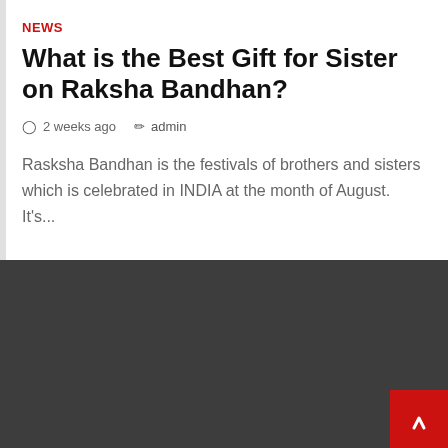NEWS
What is the Best Gift for Sister on Raksha Bandhan?
2 weeks ago   admin
Rasksha Bandhan is the festivals of brothers and sisters which is celebrated in INDIA at the month of August. It's...
[Figure (other): Dark gray/charcoal background block occupying the bottom portion of the page, with a red scroll-to-top button in the lower right corner containing an upward chevron arrow.]